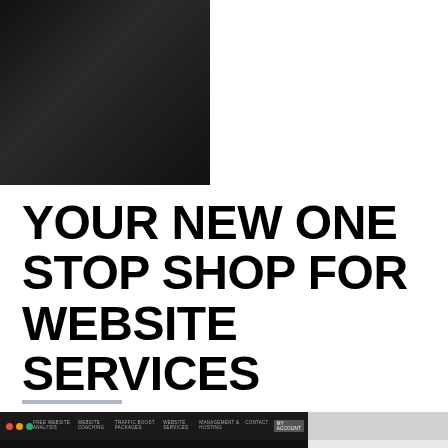[Figure (photo): Dark photograph in top-left corner, appears to show a person or interior scene with very dark tones]
YOUR NEW ONE STOP SHOP FOR WEBSITE SERVICES
[Figure (screenshot): Screenshot of Simple Web Help website introduction video player showing a YouTube-style play button over the website, with the text 'Simple Web Help Introduction', 'FUELING THE ENERGY AND POWER OF YOUR WEBSITE...', and a right panel showing 'READY TO COMPLETE ANY WEBSITE TASK...' content]